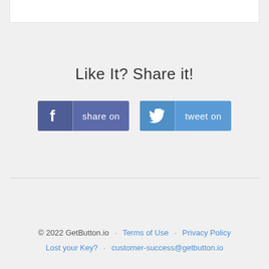[Figure (other): White box at top of page, partial view]
Like It? Share it!
[Figure (other): Facebook 'share on' button (blue/purple) and Twitter 'tweet on' button (blue), social sharing buttons]
© 2022 GetButton.io · Terms of Use · Privacy Policy Lost your Key? · customer-success@getbutton.io